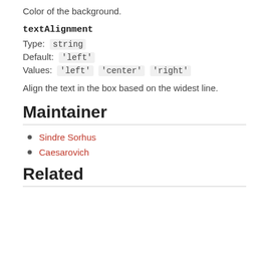or a hex value like  #ff0000
Color of the background.
textAlignment
Type:  string
Default:  'left'
Values:  'left'  'center'  'right'
Align the text in the box based on the widest line.
Maintainer
Sindre Sorhus
Caesarovich
Related